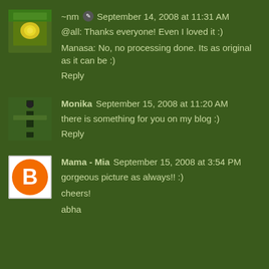~nm ✎ September 14, 2008 at 11:31 AM
@all: Thanks everyone! Even I loved it :)
Manasa: No, no processing done. Its as original as it can be :)
Reply
[Figure (photo): Avatar of Monika - photo of a path in a garden]
Monika September 15, 2008 at 11:20 AM
there is something for you on my blog :)
Reply
[Figure (logo): Blogger orange B avatar icon for Mama - Mia]
Mama - Mia September 15, 2008 at 3:54 PM
gorgeous picture as always!! :)
cheers!
abha